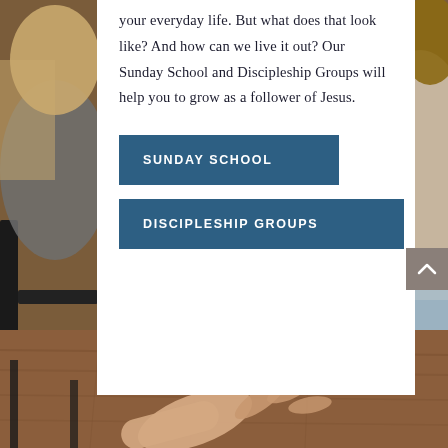[Figure (photo): Background photo showing people sitting in chairs, a wooden floor visible in the lower half, and hands gesturing in the foreground. Two people are partially visible on the left and right edges.]
your everyday life. But what does that look like? And how can we live it out? Our Sunday School and Discipleship Groups will help you to grow as a follower of Jesus.
SUNDAY SCHOOL
DISCIPLESHIP GROUPS